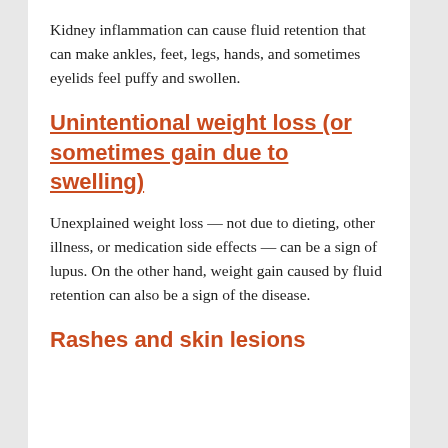Kidney inflammation can cause fluid retention that can make ankles, feet, legs, hands, and sometimes eyelids feel puffy and swollen.
Unintentional weight loss (or sometimes gain due to swelling)
Unexplained weight loss — not due to dieting, other illness, or medication side effects — can be a sign of lupus. On the other hand, weight gain caused by fluid retention can also be a sign of the disease.
Rashes and skin lesions